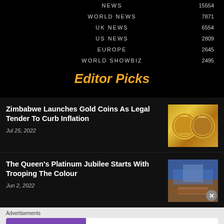NEWS   15554
WORLD NEWS   7871
UK NEWS   6554
US NEWS   2809
EUROPE   2645
WORLD SHOWBIZ   2495
Editor Picks
Zimbabwe Launches Gold Coins As Legal Tender To Curb Inflation
Jul 25, 2022
[Figure (photo): Two gold coins with Zimbabwe markings, year 2022]
The Queen's Platinum Jubilee Starts With Trooping The Colour
Jun 2, 2022
[Figure (photo): Street parade scene for Queen's Platinum Jubilee with crowds and vehicles]
Advertisements
[Figure (screenshot): WooCommerce advertisement banner: How to start selling subscriptions online]